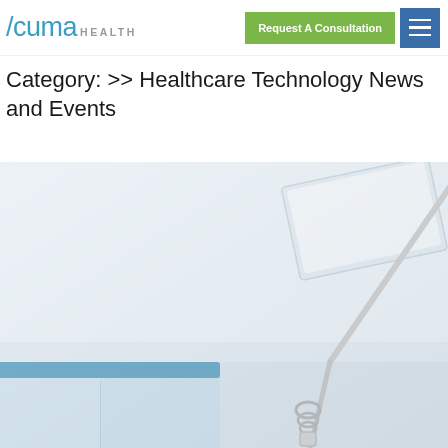Acuma HEALTH | Request A Consultation | Menu
Category: >> Healthcare Technology News and Events
[Figure (photo): Close-up photo of a medical/dental room interior showing white walls, a blue medical cabinet or equipment in the lower left, a white overhead examination light or screen fixture mounted on the ceiling upper right, and a metal articulating arm with attachments in the center-lower area, set against a light gray-white clinical background.]